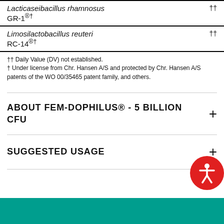| Lacticaseibacillus rhamnosus GR-1®† | †† |
| Limosilactobacillus reuteri RC-14®† | †† |
†† Daily Value (DV) not established.
† Under license from Chr. Hansen A/S and protected by Chr. Hansen A/S patents of the WO 00/35465 patent family, and others.
ABOUT FEM-DOPHILUS® - 5 BILLION CFU
SUGGESTED USAGE
[Figure (other): Teal/green banner at bottom of page with partially visible background image]
[Figure (other): Red circular accessibility button with person icon]